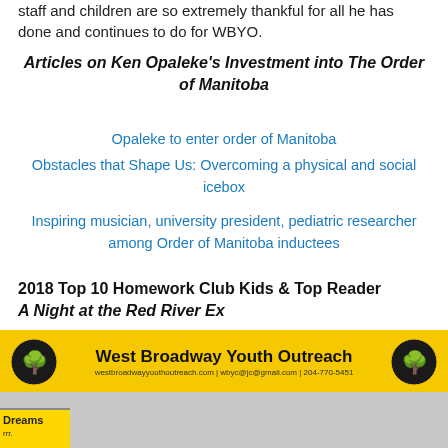staff and children are so extremely thankful for all he has done and continues to do for WBYO.
Articles on Ken Opaleke's Investment into The Order of Manitoba
Opaleke to enter order of Manitoba
Obstacles that Shape Us: Overcoming a physical and social icebox
Inspiring musician, university president, pediatric researcher among Order of Manitoba inductees
2018 Top 10 Homework Club Kids & Top Reader A Night at the Red River Ex
[Figure (photo): Exterior photo of West Broadway Youth Outreach building at 646, with a yellow banner sign reading 'West Broadway Youth Outreach' and people raising hands visible through the storefront windows. A 'Dreams' sign is partially visible at the bottom left.]